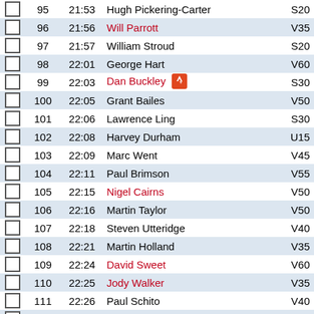|  | No. | Time | Name | Cat |
| --- | --- | --- | --- | --- |
|  | 95 | 21:53 | Hugh Pickering-Carter | S20 |
|  | 96 | 21:56 | Will Parrott | V35 |
|  | 97 | 21:57 | William Stroud | S20 |
|  | 98 | 22:01 | George Hart | V60 |
|  | 99 | 22:03 | Dan Buckley [strava] | S30 |
|  | 100 | 22:05 | Grant Bailes | V50 |
|  | 101 | 22:06 | Lawrence Ling | S30 |
|  | 102 | 22:08 | Harvey Durham | U15 |
|  | 103 | 22:09 | Marc Went | V45 |
|  | 104 | 22:11 | Paul Brimson | V55 |
|  | 105 | 22:15 | Nigel Cairns | V50 |
|  | 106 | 22:16 | Martin Taylor | V50 |
|  | 107 | 22:18 | Steven Utteridge | V40 |
|  | 108 | 22:21 | Martin Holland | V35 |
|  | 109 | 22:24 | David Sweet | V60 |
|  | 110 | 22:25 | Jody Walker | V35 |
|  | 111 | 22:26 | Paul Schito | V40 |
|  | 112 | 22:28 | Frankie Edwards | U11 |
|  | 113 | 22:29 | John Thompson | V55 |
|  | 114 | 22:30 | Robert Adams | V50 |